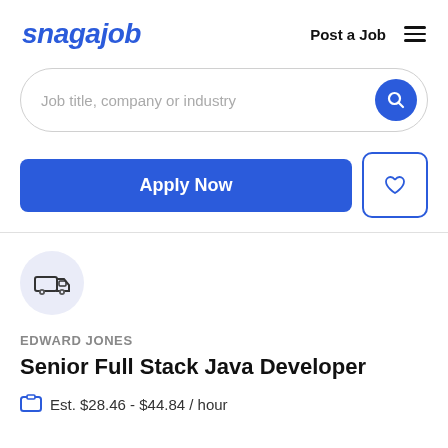snagajob | Post a Job
[Figure (screenshot): Search bar with placeholder text 'Job title, company or industry' and a blue circular search button]
[Figure (screenshot): Apply Now blue button and a heart/save icon button with blue border]
[Figure (logo): Company logo circle with a delivery truck icon on light blue/lavender background]
EDWARD JONES
Senior Full Stack Java Developer
Est. $28.46 - $44.84 / hour